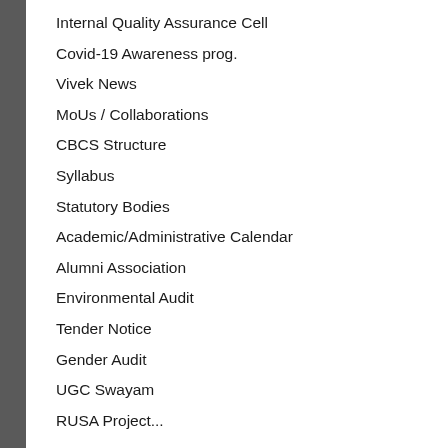Internal Quality Assurance Cell
Covid-19 Awareness prog.
Vivek News
MoUs / Collaborations
CBCS Structure
Syllabus
Statutory Bodies
Academic/Administrative Calendar
Alumni Association
Environmental Audit
Tender Notice
Gender Audit
UGC Swayam
RUSA Project...